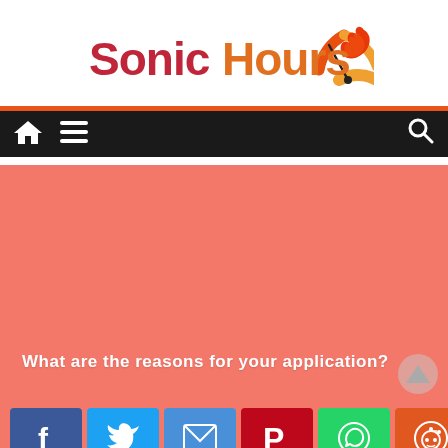[Figure (logo): SonicHours logo with stylized text and speedometer/flame graphic]
[Figure (infographic): Navigation bar with home icon, hamburger menu, and search icon on dark background]
[Figure (infographic): Red/salmon colored feature image area with text 'What are the reasons for your application?']
[Figure (infographic): Social sharing buttons: Facebook, Twitter, Email, Pinterest, WhatsApp, Reddit, Tumblr, More]